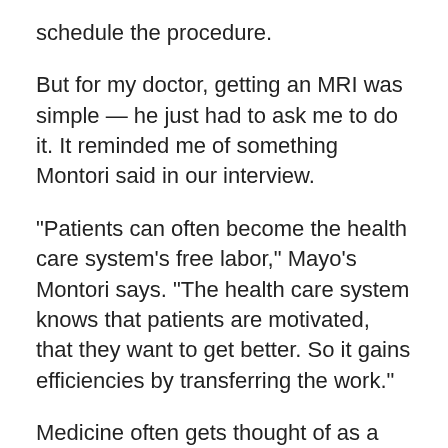schedule the procedure.
But for my doctor, getting an MRI was simple — he just had to ask me to do it. It reminded me of something Montori said in our interview.
"Patients can often become the health care system's free labor," Mayo's Montori says. "The health care system knows that patients are motivated, that they want to get better. So it gains efficiencies by transferring the work."
Medicine often gets thought of as a one-way road, where doctors work to solve patients' problems. And don't get me wrong, that work is incredibly important; there are thousands of doctors who do incredible work every day, and I am grateful to have those people in my health care system.